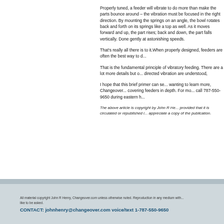Properly tuned, a feeder will vibrate to do more than make the parts bounce around – the vibration must be focused in the right direction. By mounting the springs on an angle, the bowl rotates back and forth on its springs like a top as well. As it moves forward and up, the part rises; back and down, the part falls vertically. Done gently at astonishing speeds.
That's really all there is to it. When properly designed, feeders are often the best way to orient and feed parts.
That is the fundamental principle of vibratory feeding. There are a lot more details but once the basics of directed vibration are understood,
I hope that this brief primer can serve as a start. For those wanting to learn more, Changeover.com has several articles covering feeders in depth. For more information you can also call 787-550-9650 during eastern hours.
The above article is copyright by John R Henry and may be reproduced provided that it is circulated or republished in its entirety. The author would appreciate a copy of the publication.
All material copyright John R Henry, Changeover.com unless otherwise noted. Reproduction in any medium with credit is permitted, we'd like to be asked. CONTACT: johnhenry@changeover.com voice/text 1-787-550-9650